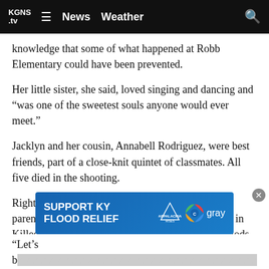KGNS .tv  ≡  News  Weather  🔍
knowledge that some of what happened at Robb Elementary could have been prevented.
Her little sister, she said, loved singing and dancing and “was one of the sweetest souls anyone would ever meet.”
Jacklyn and her cousin, Annabell Rodriguez, were best friends, part of a close-knit quintet of classmates. All five died in the shooting.
Right after Jazmin testified, a woman who lost her parents in a 1991 shooting that left two dozen dead in Killeen, Texas, told the committee that waiting periods for gun sales are “worthless” and gun-free zones should be eliminated.
[Figure (infographic): Advertisement banner: SUPPORT KY FLOOD RELIEF with Appalachia Rises and Gray Television logos]
“Let’s b… that can be… used